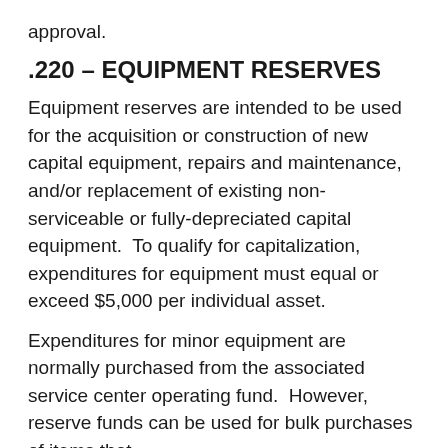approval.
.220 – EQUIPMENT RESERVES
Equipment reserves are intended to be used for the acquisition or construction of new capital equipment, repairs and maintenance, and/or replacement of existing non-serviceable or fully-depreciated capital equipment.  To qualify for capitalization, expenditures for equipment must equal or exceed $5,000 per individual asset.
Expenditures for minor equipment are normally purchased from the associated service center operating fund.  However, reserve funds can be used for bulk purchases of items that individually cost less than $5,000 for...